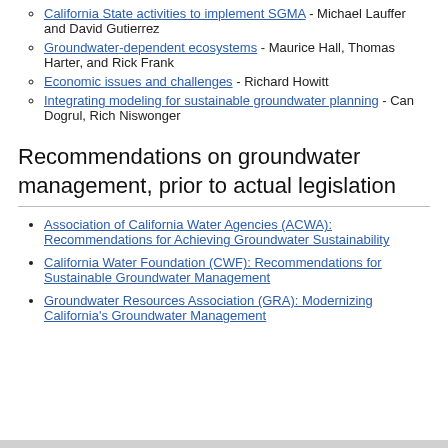California State activities to implement SGMA - Michael Lauffer and David Gutierrez
Groundwater-dependent ecosystems - Maurice Hall, Thomas Harter, and Rick Frank
Economic issues and challenges - Richard Howitt
Integrating modeling for sustainable groundwater planning - Can Dogrul, Rich Niswonger
Recommendations on groundwater management, prior to actual legislation
Association of California Water Agencies (ACWA): Recommendations for Achieving Groundwater Sustainability
California Water Foundation (CWF): Recommendations for Sustainable Groundwater Management
Groundwater Resources Association (GRA): Modernizing California's Groundwater Management